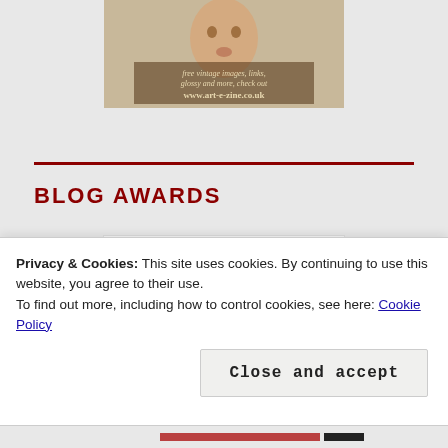[Figure (illustration): Vintage art e-zine advertisement image with text 'free vintage images, links, glossy and more, check out www.art-e-zine.co.uk']
BLOG AWARDS
[Figure (illustration): Circular stamp/badge image with text 'UAL BLOGGERS NOMINATED' in purple ink stamp style]
Privacy & Cookies: This site uses cookies. By continuing to use this website, you agree to their use.
To find out more, including how to control cookies, see here: Cookie Policy